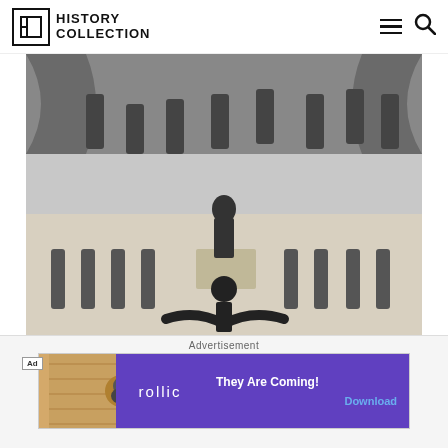History Collection
[Figure (photo): Black and white photograph of a jazz show in Chicago, 1924. Shows a large group of musicians playing instruments on a stage and dancers performing on the dance floor. A man in the foreground is doing a split on the floor.]
A jazz show in Chicago 1924. Dance With Heidi.
Advertisement
[Figure (screenshot): Advertisement banner for Rollic game 'They Are Coming!' with a Download button. Shows an Ad tag, a wooden surface image on the left and purple background with rollic branding on the right.]